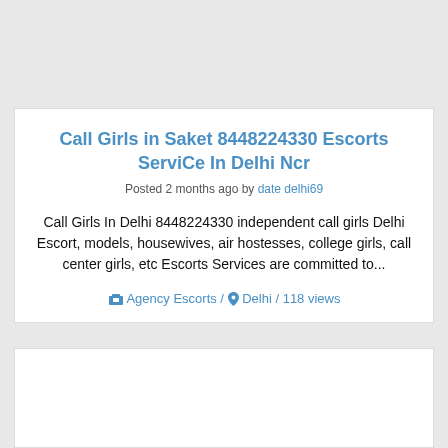Call Girls in Saket 8448224330 Escorts ServiCe In Delhi Ncr
Posted 2 months ago by date delhi69
Call Girls In Delhi 8448224330 independent call girls Delhi Escort, models, housewives, air hostesses, college girls, call center girls, etc Escorts Services are committed to...
Agency Escorts / Delhi / 118 views